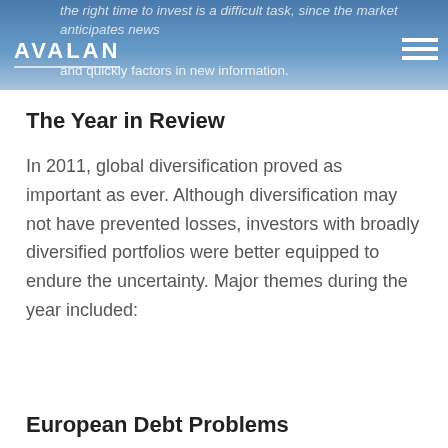the right time to invest is a difficult task, since the market anticipates news and quickly factors in new information.
The Year in Review
In 2011, global diversification proved as important as ever. Although diversification may not have prevented losses, investors with broadly diversified portfolios were better equipped to endure the uncertainty. Major themes during the year included:
European Debt Problems